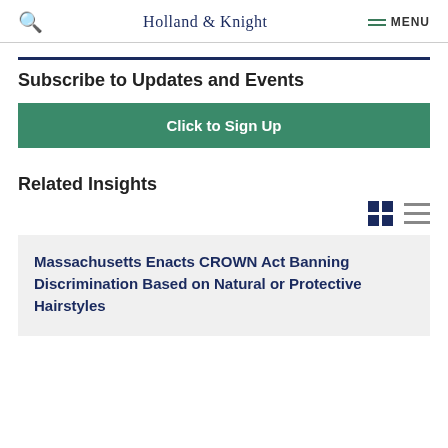Holland & Knight   MENU
Subscribe to Updates and Events
Click to Sign Up
Related Insights
Massachusetts Enacts CROWN Act Banning Discrimination Based on Natural or Protective Hairstyles